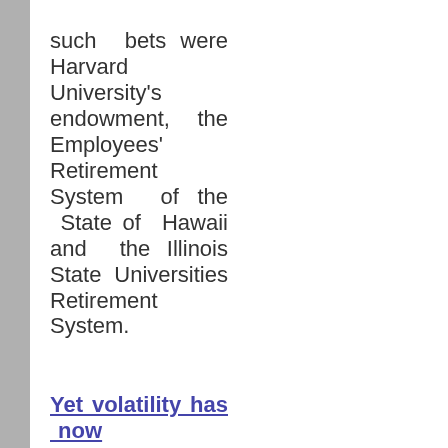such bets were Harvard University's endowment, the Employees' Retirement System of the State of Hawaii and the Illinois State Universities Retirement System.
Yet volatility has now